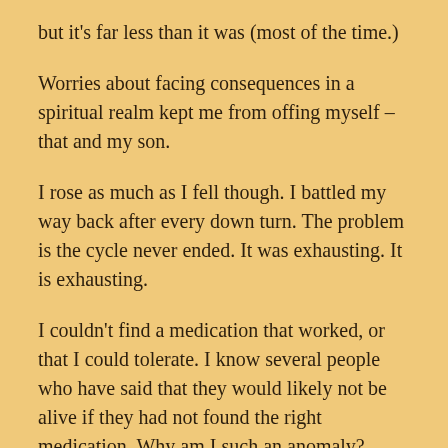but it's far less than it was (most of the time.)
Worries about facing consequences in a spiritual realm kept me from offing myself – that and my son.
I rose as much as I fell though. I battled my way back after every down turn. The problem is the cycle never ended. It was exhausting. It is exhausting.
I couldn't find a medication that worked, or that I could tolerate. I know several people who have said that they would likely not be alive if they had not found the right medication. Why am I such an anomaly?